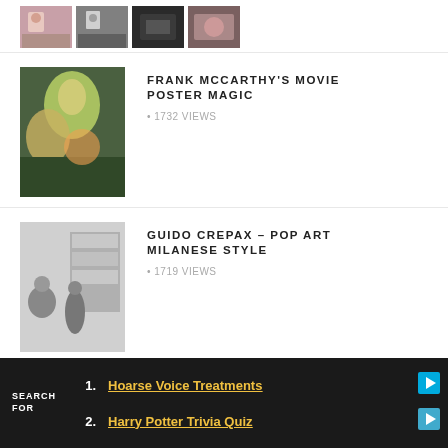[Figure (photo): Three small thumbnail images in a horizontal strip at the top]
[Figure (photo): Thumbnail for Frank McCarthy's Movie Poster Magic article – colorful movie poster art with woman and man]
FRANK MCCARTHY'S MOVIE POSTER MAGIC
• 1732 VIEWS
[Figure (photo): Thumbnail for Guido Crepax article – black and white photo of people]
GUIDO CREPAX – POP ART MILANESE STYLE
• 1719 VIEWS
[Figure (photo): Thumbnail for Andy Warhol Jazz Album Covers article – illustration]
ANDY WARHOL – JAZZ ALBUM COVERS
• 1137 VIEWS
SEARCH FOR
1. Hoarse Voice Treatments
2. Harry Potter Trivia Quiz